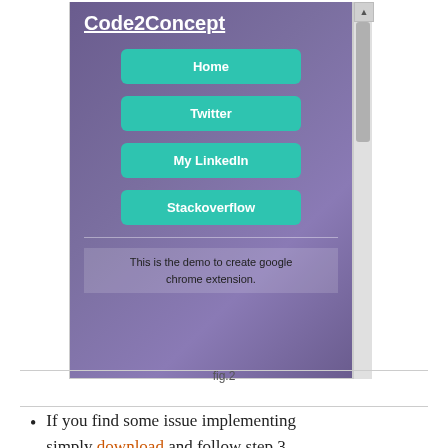[Figure (screenshot): A browser popup screenshot showing the Code2Concept chrome extension with a purple gradient background. It displays a bold underlined white title 'Code2Concept' and four teal navigation buttons: Home, Twitter, My LinkedIn, Stackoverflow. Below a divider line is a footer text: 'This is the demo to create google chrome extension.' A scrollbar is visible on the right side.]
fig.2
If you find some issue implementing simply download and follow step 3.